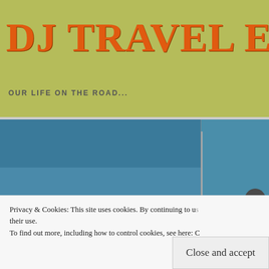DJ TRAVEL EXPE
OUR LIFE ON THE ROAD...
[Figure (photo): Ocean waves with whitecaps crashing near shore, fishing rod visible, person partially visible on right edge. Two-panel photo layout.]
Privacy & Cookies: This site uses cookies. By continuing to use this site, you agree to their use. To find out more, including how to control cookies, see here: C
Close and accept